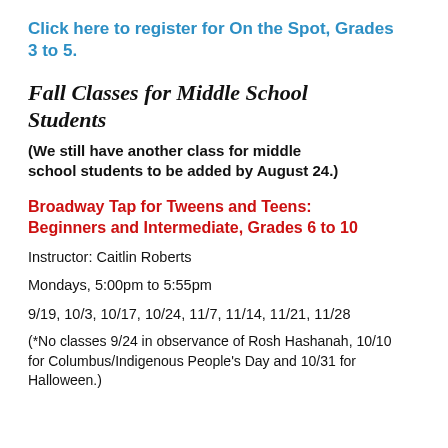Click here to register for On the Spot, Grades 3 to 5.
Fall Classes for Middle School Students
(We still have another class for middle school students to be added by August 24.)
Broadway Tap for Tweens and Teens: Beginners and Intermediate, Grades 6 to 10
Instructor: Caitlin Roberts
Mondays, 5:00pm to 5:55pm
9/19, 10/3, 10/17, 10/24, 11/7, 11/14, 11/21, 11/28
(*No classes 9/24 in observance of Rosh Hashanah, 10/10 for Columbus/Indigenous People's Day and 10/31 for Halloween.)